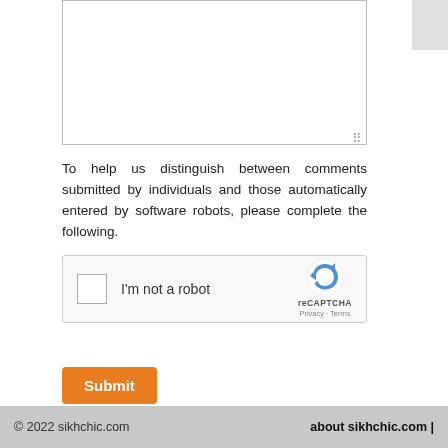[Figure (screenshot): A textarea input box with a resize handle in the bottom right corner]
To help us distinguish between comments submitted by individuals and those automatically entered by software robots, please complete the following.
[Figure (other): reCAPTCHA widget with checkbox labeled 'I'm not a robot' and reCAPTCHA logo with Privacy and Terms links]
Submit
read other articles in Our Heroes
© 2022 sikhchic.com   about sikhchic.com |